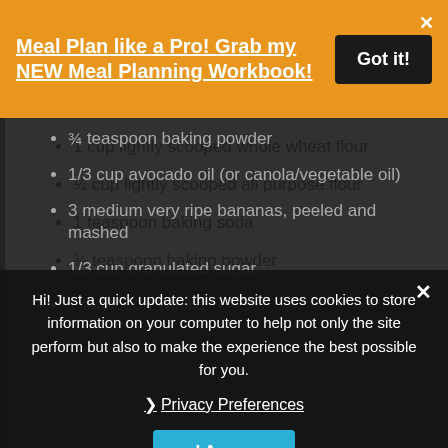Meal Plan like a Pro! Grab my NEW Meal Planning Workbook!
1 cup lightly scooped whole wheat flour
½ cup lightly scooped all purpose flour
1 teaspoon baking soda
¾ teaspoon baking powder
1/3 cup avocado oil (or canola/vegetable oil)
3 medium very ripe bananas, peeled and mashed
1/3 cup granulated sugar
1 teaspoon vanilla
Hi! Just a quick update: this website uses cookies to store information on your computer to help not only the site perform but also to make the experience the best possible for you.
Privacy Preferences
I Agree